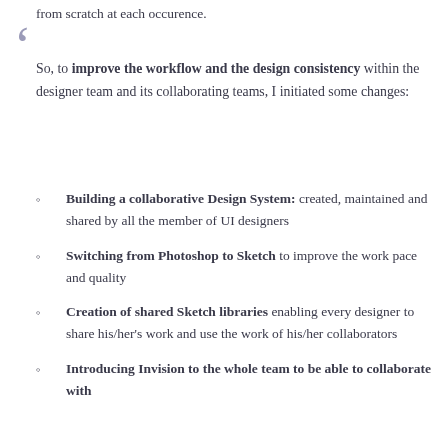from scratch at each occurence.
So, to improve the workflow and the design consistency within the designer team and its collaborating teams, I initiated some changes:
Building a collaborative Design System: created, maintained and shared by all the member of UI designers
Switching from Photoshop to Sketch to improve the work pace and quality
Creation of shared Sketch libraries enabling every designer to share his/her's work and use the work of his/her collaborators
Introducing Invision to the whole team to be able to collaborate with